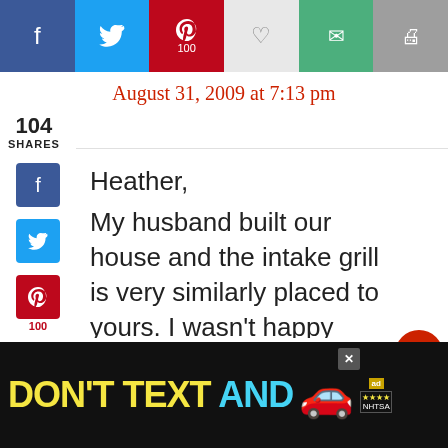[Figure (screenshot): Social sharing buttons bar at top: Facebook (dark blue), Twitter (light blue), Pinterest (red, 100), heart (light gray), email (green), print (gray)]
August 31, 2009 at 7:13 pm
104
SHARES
[Figure (screenshot): Left sidebar social share icons: Facebook, Twitter, Pinterest (100), Reddit, Email, Print]
Heather,

My husband built our house and the intake grill is very similarly placed to yours. I wasn't happy about it, but he said there wasn't any other functionally suitable spot. I've thought many times about how I could possibly
[Figure (screenshot): Right side widget: red heart button with 111 count, share button]
[Figure (screenshot): What's Next banner with illustration and text: WHAT'S NEXT → Grill the Griller]
[Figure (screenshot): Ad banner: DON'T TEXT AND [car emoji] with NHTSA branding on dark background]